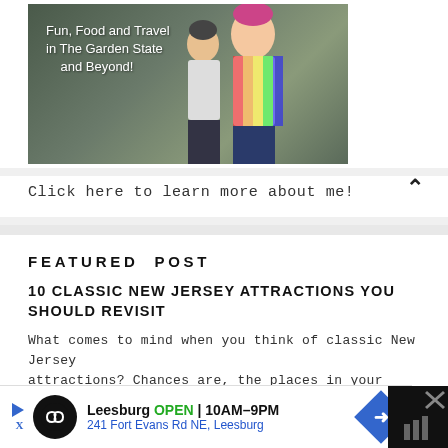[Figure (photo): Photo of a person in colorful clothing in front of a dark green background with text overlay reading 'Fun, Food and Travel in The Garden State and Beyond!']
Click here to learn more about me!
FEATURED POST
10 CLASSIC NEW JERSEY ATTRACTIONS YOU SHOULD REVISIT
What comes to mind when you think of classic New Jersey attractions? Chances are, the places in your memory are still in existence today. Ne...
[Figure (photo): Three thumbnail images showing outdoor/landscape scenes]
Leesburg OPEN 10AM–9PM 241 Fort Evans Rd NE, Leesburg